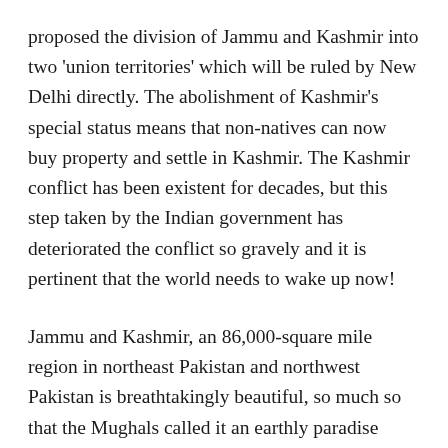proposed the division of Jammu and Kashmir into two 'union territories' which will be ruled by New Delhi directly. The abolishment of Kashmir's special status means that non-natives can now buy property and settle in Kashmir. The Kashmir conflict has been existent for decades, but this step taken by the Indian government has deteriorated the conflict so gravely and it is pertinent that the world needs to wake up now!
Jammu and Kashmir, an 86,000-square mile region in northeast Pakistan and northwest Pakistan is breathtakingly beautiful, so much so that the Mughals called it an earthly paradise back in the 16